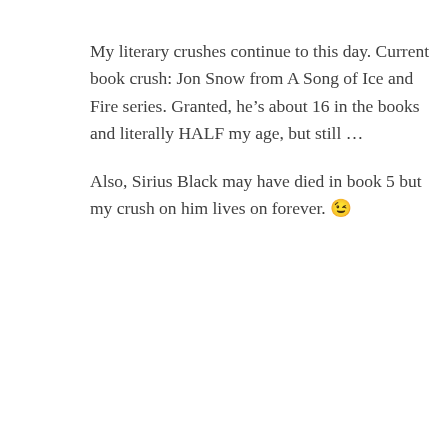My literary crushes continue to this day. Current book crush: Jon Snow from A Song of Ice and Fire series. Granted, he's about 16 in the books and literally HALF my age, but still …
Also, Sirius Black may have died in book 5 but my crush on him lives on forever. 😉
★ Like
talesofwhimsy
Advertisements
[Figure (screenshot): Dark blue advertisement banner: 'Create surveys, polls, quizzes, and forms.' with WordPress and JotForm logos]